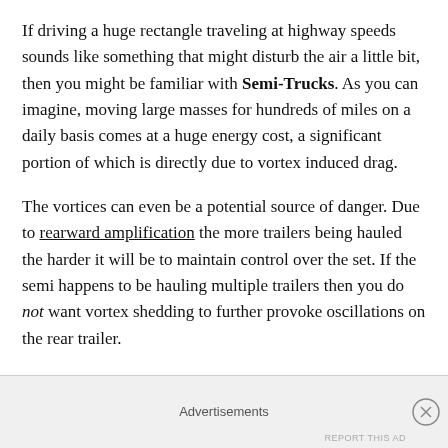If driving a huge rectangle traveling at highway speeds sounds like something that might disturb the air a little bit, then you might be familiar with Semi-Trucks. As you can imagine, moving large masses for hundreds of miles on a daily basis comes at a huge energy cost, a significant portion of which is directly due to vortex induced drag.
The vortices can even be a potential source of danger. Due to rearward amplification the more trailers being hauled the harder it will be to maintain control over the set. If the semi happens to be hauling multiple trailers then you do not want vortex shedding to further provoke oscillations on the rear trailer.
Fortunately, engineers have created multiple bolt-on products
Advertisements